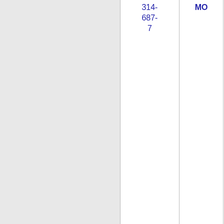| Number | State | Carrier | Code |
| --- | --- | --- | --- |
| 314-687-7 | MO | T-MOBILE USA, INC. (T-Mobile US, Inc) | 65 |
| 314-687-8 | MO | T-MOBILE USA, INC. (T-Mobile US, Inc) | 65 |
| 314-687-9 | MO | T-MOBILE USA, INC. (T-Mobile US, Inc) | 65 |